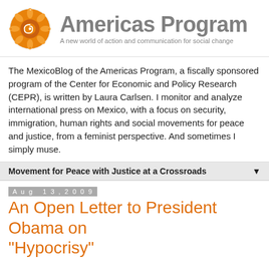[Figure (logo): Americas Program logo: orange circular Aztec-style icon and gray bold text 'Americas Program' with subtitle 'A new world of action and communication for social change']
The MexicoBlog of the Americas Program, a fiscally sponsored program of the Center for Economic and Policy Research (CEPR), is written by Laura Carlsen. I monitor and analyze international press on Mexico, with a focus on security, immigration, human rights and social movements for peace and justice, from a feminist perspective. And sometimes I simply muse.
Movement for Peace with Justice at a Crossroads
Aug 13, 2009
An Open Letter to President Obama on "Hypocrisy"
At the Summit of North American Leaders in Guadalajara, President Obama characteristically dint into critics of his...